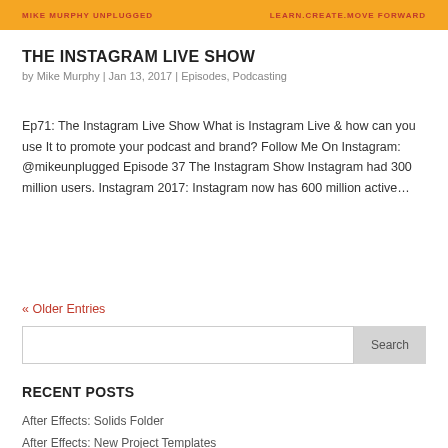MIKE MURPHY UNPLUGGED   LEARN.CREATE.MOVE FORWARD
THE INSTAGRAM LIVE SHOW
by Mike Murphy | Jan 13, 2017 | Episodes, Podcasting
Ep71: The Instagram Live Show What is Instagram Live & how can you use It to promote your podcast and brand? Follow Me On Instagram: @mikeunplugged Episode 37 The Instagram Show Instagram had 300 million users. Instagram 2017: Instagram now has 600 million active…
« Older Entries
Search
RECENT POSTS
After Effects: Solids Folder
After Effects: New Project Templates